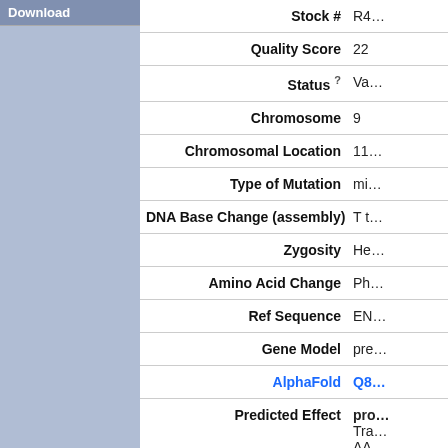Download
| Field | Value |
| --- | --- |
| Stock # | R4... |
| Quality Score | 22 |
| Status (?) | Va... |
| Chromosome | 9 |
| Chromosomal Location | 11... |
| Type of Mutation | mi... |
| DNA Base Change (assembly) | T t... |
| Zygosity | He... |
| Amino Acid Change | Ph... |
| Ref Sequence | EN... |
| Gene Model | pre... |
| AlphaFold | Q8... |
| Predicted Effect | pro...
Tra...
AA...

Po... |